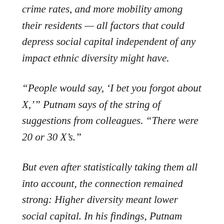crime rates, and more mobility among their residents — all factors that could depress social capital independent of any impact ethnic diversity might have.
“People would say, ‘I bet you forgot about X,’” Putnam says of the string of suggestions from colleagues. “There were 20 or 30 X’s.”
But even after statistically taking them all into account, the connection remained strong: Higher diversity meant lower social capital. In his findings, Putnam writes that those in more diverse communities tend to “distrust their neighbors, regardless of the color of their skin, to withdraw even from